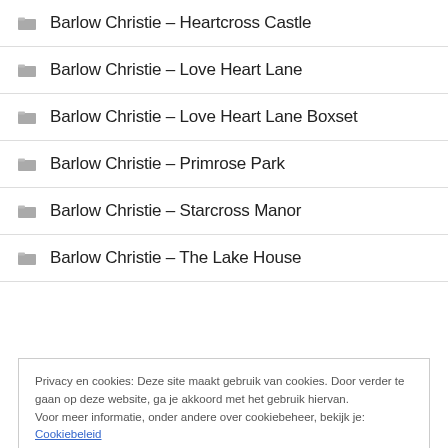Barlow Christie – Heartcross Castle
Barlow Christie – Love Heart Lane
Barlow Christie – Love Heart Lane Boxset
Barlow Christie – Primrose Park
Barlow Christie – Starcross Manor
Barlow Christie – The Lake House
Privacy en cookies: Deze site maakt gebruik van cookies. Door verder te gaan op deze website, ga je akkoord met het gebruik hiervan. Voor meer informatie, onder andere over cookiebeheer, bekijk je: Cookiebeleid